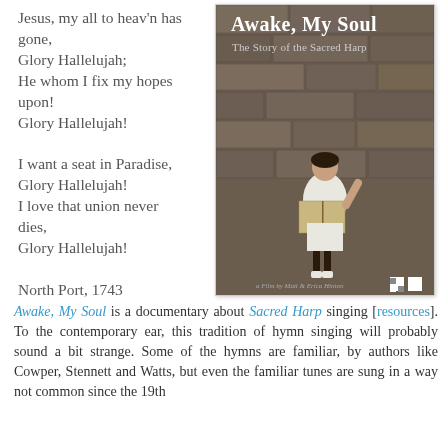Jesus, my all to heav'n has gone, Glory Hallelujah; He whom I fix my hopes upon! Glory Hallelujah!

I want a seat in Paradise, Glory Hallelujah! I love that union never dies, Glory Hallelujah!

North Port, 1743
[Figure (photo): Book cover of 'Awake, My Soul: The Story of the Sacred Harp', a film by Matt & Erica Hinton. Black and white photo of a young child standing against a stone wall holding a large book.]
Awake, My Soul is a documentary about Sacred Harp singing [resources]. To the contemporary ear, this tradition of hymn singing will probably sound a bit strange. Some of the hymns are familiar, by authors like Cowper, Stennett and Watts, but even the familiar tunes are sung in a way not common since the 19th